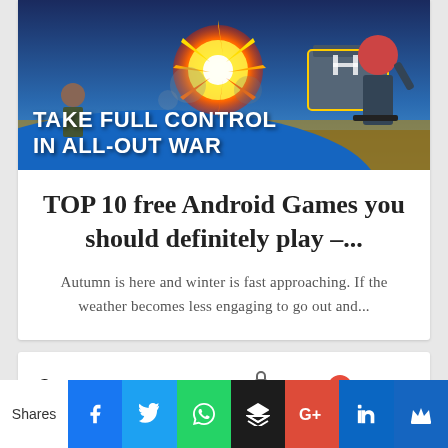[Figure (screenshot): Mobile game advertisement banner with text 'TAKE FULL CONTROL IN ALL-OUT WAR' on a blue background with explosion and military characters]
TOP 10 free Android Games you should definitely play –...
Autumn is here and winter is fast approaching. If the weather becomes less engaging to go out and...
Comments  Community  🔒  1  Login ▾
♡ Favorite    Sort by Best ▾
Shares  [Facebook] [Twitter] [WhatsApp] [Buffer] [Google+] [LinkedIn] [Crown]